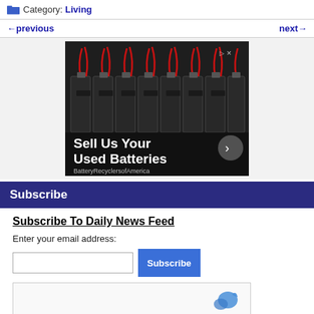Category: Living
← previous   next →
[Figure (photo): Advertisement showing rows of large industrial batteries with red wiring, with text 'Sell Us Your Used Batteries' and brand 'BatteryRecyclersofAmerica']
Subscribe
Subscribe To Daily News Feed
Enter your email address:
Subscribe (button)